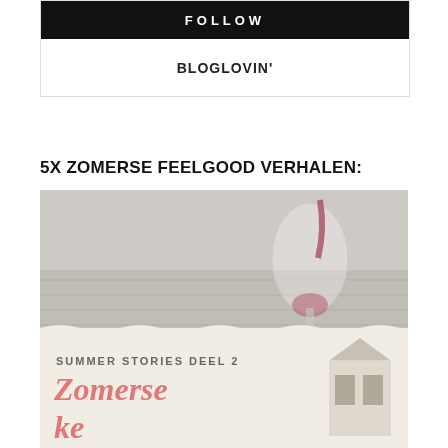FOLLOW
BLOGLOVIN'
5X ZOMERSE FEELGOOD VERHALEN:
[Figure (photo): Book cover photo showing a wine glass being filled with red wine on a wooden table, with a book titled 'Zomerse' (Summer Stories Deel 2) in the lower portion of the image]